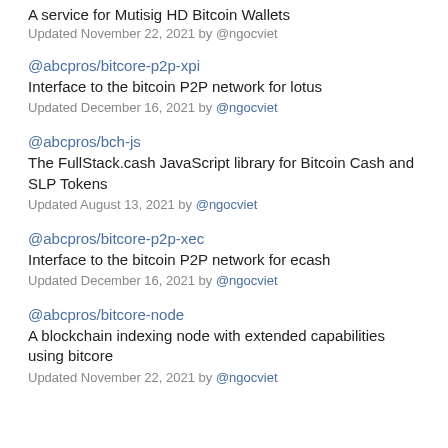A service for Mutisig HD Bitcoin Wallets
Updated November 22, 2021 by @ngocviet
@abcpros/bitcore-p2p-xpi
Interface to the bitcoin P2P network for lotus
Updated December 16, 2021 by @ngocviet
@abcpros/bch-js
The FullStack.cash JavaScript library for Bitcoin Cash and SLP Tokens
Updated August 13, 2021 by @ngocviet
@abcpros/bitcore-p2p-xec
Interface to the bitcoin P2P network for ecash
Updated December 16, 2021 by @ngocviet
@abcpros/bitcore-node
A blockchain indexing node with extended capabilities using bitcore
Updated November 22, 2021 by @ngocviet